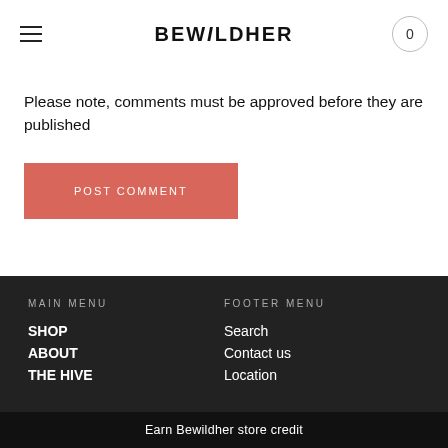BEWiLDHER
Please note, comments must be approved before they are published
POST COMMENT
MAIN MENU
SHOP
ABOUT
THE HIVE
FOOTER MENU
Search
Contact us
Location
Earn Bewildher store credit